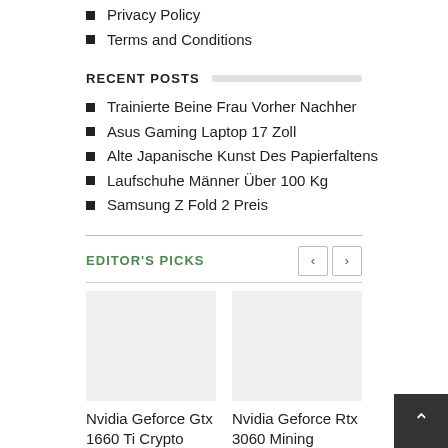Privacy Policy
Terms and Conditions
RECENT POSTS
Trainierte Beine Frau Vorher Nachher
Asus Gaming Laptop 17 Zoll
Alte Japanische Kunst Des Papierfaltens
Laufschuhe Männer Über 100 Kg
Samsung Z Fold 2 Preis
EDITOR'S PICKS
Nvidia Geforce Gtx 1660 Ti Crypto Mining
Nvidia Geforce Rtx 3060 Mining Profitability